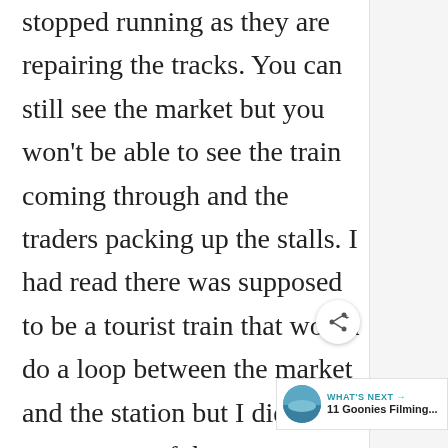stopped running as they are repairing the tracks. You can still see the market but you won't be able to see the train coming through and the traders packing up the stalls. I had read there was supposed to be a tourist train that would do a loop between the market and the station but I didn't see any reports of that yet.